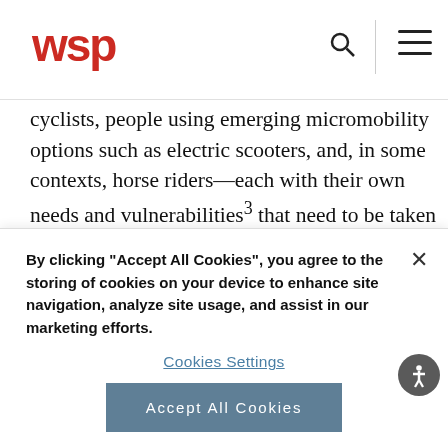WSP
cyclists, people using emerging micromobility options such as electric scooters, and, in some contexts, horse riders—each with their own needs and vulnerabilities³ that need to be taken into consideration. Competition exists between modes and users; the interfaces and interdependencies within the system—involving the physical space, vehicles and road users—often lie at the heart of any safety issue. The whole system therefore
By clicking "Accept All Cookies", you agree to the storing of cookies on your device to enhance site navigation, analyze site usage, and assist in our marketing efforts.
Cookies Settings
Accept All Cookies